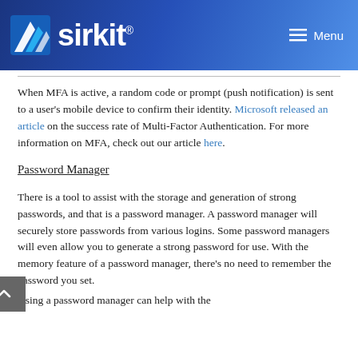[Figure (logo): Sirkit logo with blue geometric icon and white text on dark blue gradient header background, with Menu hamburger icon on the right]
When MFA is active, a random code or prompt (push notification) is sent to a user's mobile device to confirm their identity. Microsoft released an article on the success rate of Multi-Factor Authentication. For more information on MFA, check out our article here.
Password Manager
There is a tool to assist with the storage and generation of strong passwords, and that is a password manager. A password manager will securely store passwords from various logins. Some password managers will even allow you to generate a strong password for use. With the memory feature of a password manager, there's no need to remember the password you set.
Using a password manager can help with the